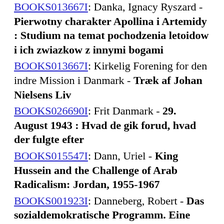BOOKS013667I (link): Danka, Ignacy Ryszard - Pierwotny charakter Apollina i Artemidy : Studium na temat pochodzenia letoidow i ich zwiazkow z innymi bogami
BOOKS013667I (link): Kirkelig Forening for den indre Mission i Danmark - Træk af Johan Nielsens Liv
BOOKS026690I (link): Frit Danmark - 29. August 1943 : Hvad de gik forud, hvad der fulgte efter
BOOKS015547I (link): Dann, Uriel - King Hussein and the Challenge of Arab Radicalism: Jordan, 1955-1967
BOOKS001923I (link): Danneberg, Robert - Das sozialdemokratische Programm. Eine gemeinverstandliche Erlauterung seiner...